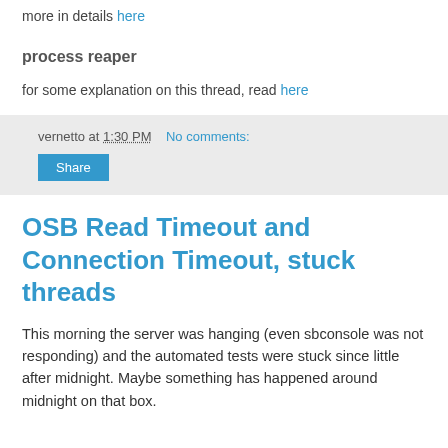more in details here
process reaper
for some explanation on this thread, read here
vernetto at 1:30 PM    No comments:
Share
OSB Read Timeout and Connection Timeout, stuck threads
This morning the server was hanging (even sbconsole was not responding) and the automated tests were stuck since little after midnight. Maybe something has happened around midnight on that box.